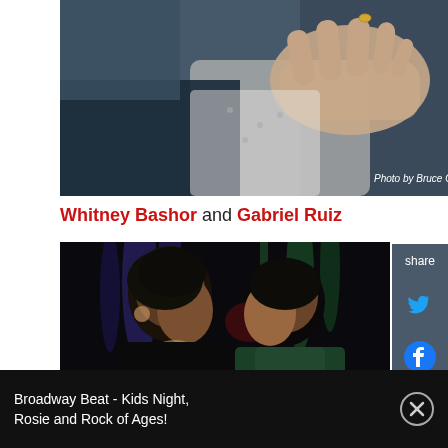[Figure (photo): Close-up photo of two people embracing, with a hand visible on someone's chest. Photo credit reads 'Photo by Bruce Glikas' with a small logo.]
Whitney Bashor and Gabriel Ruiz
[Figure (photo): Photo of two people facing each other at what appears to be a dark nightclub or event venue with purple and green lighting.]
Broadway Beat - Kids Night, Rosie and Rock of Ages!